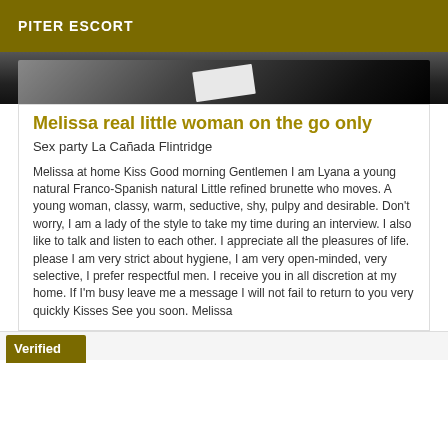PITER ESCORT
[Figure (photo): Dark background photo strip with white paper/card visible]
Melissa real little woman on the go only
Sex party La Cañada Flintridge
Melissa at home Kiss Good morning Gentlemen I am Lyana a young natural Franco-Spanish natural Little refined brunette who moves. A young woman, classy, warm, seductive, shy, pulpy and desirable. Don't worry, I am a lady of the style to take my time during an interview. I also like to talk and listen to each other. I appreciate all the pleasures of life. please I am very strict about hygiene, I am very open-minded, very selective, I prefer respectful men. I receive you in all discretion at my home. If I'm busy leave me a message I will not fail to return to you very quickly Kisses See you soon. Melissa
Verified